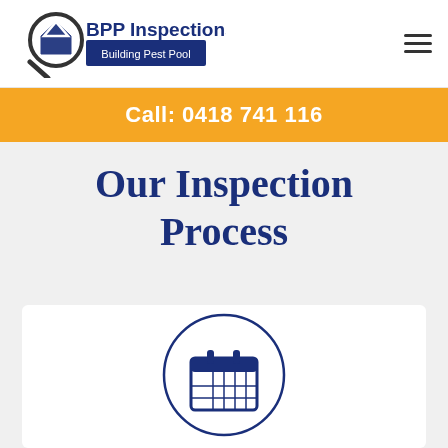[Figure (logo): BPP Inspections logo with magnifying glass and house graphic, text reads 'BPP Inspections Building Pest Pool']
Call: 0418 741 116
Our Inspection Process
[Figure (illustration): Calendar icon inside a circle, drawn in dark navy blue outline style]